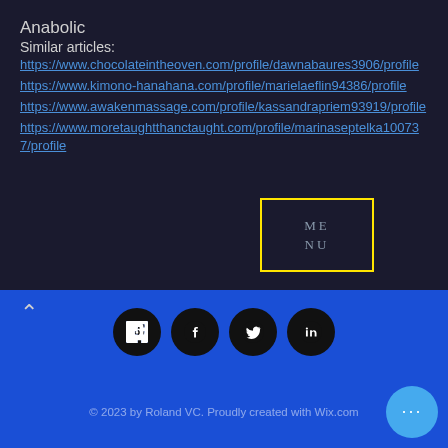Anabolic
Similar articles:
https://www.chocolateintheoven.com/profile/dawnabaures3906/profile
https://www.kimono-hanahana.com/profile/marielaeflin94386/profile
https://www.awakenmassage.com/profile/kassandrapriem93919/profile
https://www.moretaughtthanctaught.com/profile/marinaseptelka100737/profile
[Figure (screenshot): Menu overlay box with yellow border showing ME NU text]
© 2023 by Roland VC. Proudly created with Wix.com